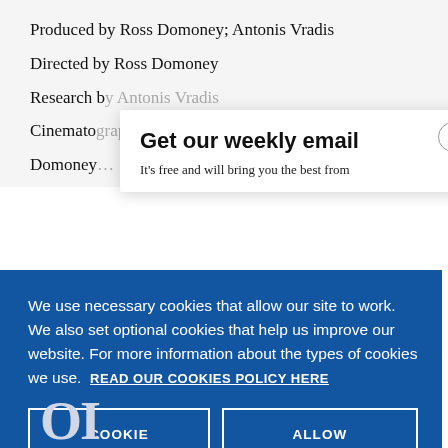Produced by Ross Domoney; Antonis Vradis
Directed by Ross Domoney
Research by Antonis Vradis
Cinemato[graphy partly obscured]
Domoney[partly obscured]
Get our weekly email
It's free and will bring you the best from
We use necessary cookies that allow our site to work. We also set optional cookies that help us improve our website. For more information about the types of cookies we use. READ OUR COOKIES POLICY HERE
COOKIE SETTINGS
ALLOW ALL COOKIES
data.